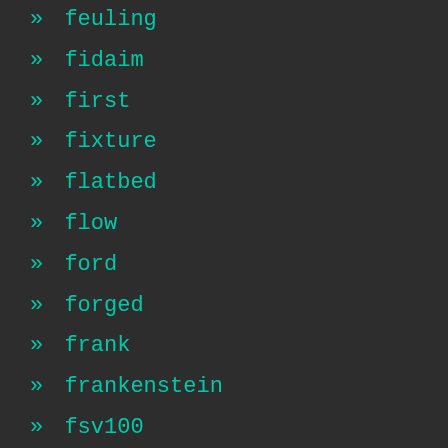» feuling
» fidaim
» first
» fixture
» flatbed
» flow
» ford
» forged
» frank
» frankenstein
» fsv100
» genuine
» germany
» good
» goodson